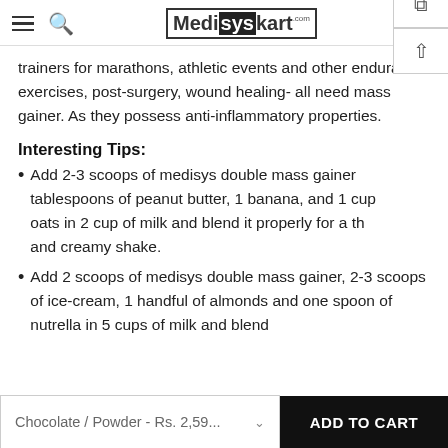Medisyskart.com
trainers for marathons, athletic events and other endurance exercises, post-surgery, wound healing- all need mass gainer. As they possess anti-inflammatory properties.
Interesting Tips:
Add 2-3 scoops of medisys double mass gainer tablespoons of peanut butter, 1 banana, and 1 cup oats in 2 cup of milk and blend it properly for a thick and creamy shake.
Add 2 scoops of medisys double mass gainer, 2-3 scoops of ice-cream, 1 handful of almonds and one spoon of nutrella in 5 cups of milk and blend
Chocolate / Powder - Rs. 2,59...  ADD TO CART